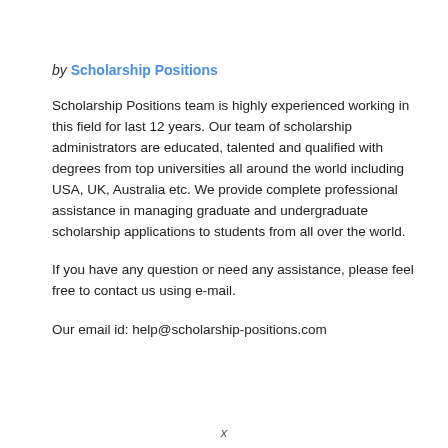by Scholarship Positions
Scholarship Positions team is highly experienced working in this field for last 12 years. Our team of scholarship administrators are educated, talented and qualified with degrees from top universities all around the world including USA, UK, Australia etc. We provide complete professional assistance in managing graduate and undergraduate scholarship applications to students from all over the world.
If you have any question or need any assistance, please feel free to contact us using e-mail.
Our email id: help@scholarship-positions.com